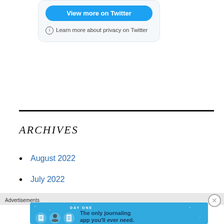[Figure (screenshot): Twitter embed card showing 'View more on Twitter' button and 'Learn more about privacy on Twitter' text with info icon, on a light grey rounded card background]
Learn more about privacy on Twitter
ARCHIVES
August 2022
July 2022
Advertisements
[Figure (screenshot): Day One journaling app advertisement banner: 'The only journaling app you'll ever need.']